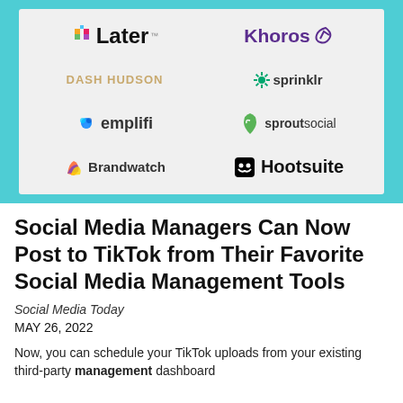[Figure (infographic): A grid of social media management tool logos on a light gray background with teal border: Later, Khoros, Dash Hudson, Sprinklr, Emplifi, Sprout Social, Brandwatch, Hootsuite]
Social Media Managers Can Now Post to TikTok from Their Favorite Social Media Management Tools
Social Media Today
MAY 26, 2022
Now, you can schedule your TikTok uploads from your existing third-party management dashboard